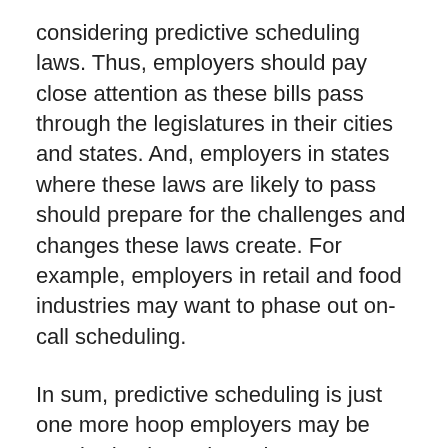considering predictive scheduling laws. Thus, employers should pay close attention as these bills pass through the legislatures in their cities and states. And, employers in states where these laws are likely to pass should prepare for the challenges and changes these laws create. For example, employers in retail and food industries may want to phase out on-call scheduling.
In sum, predictive scheduling is just one more hoop employers may be required to jump through to operate a business, in Seattle, San Francisco, New York City and other jurisdictions around the country. These laws will create a host of new and challenging provisions that employers are required to follow, and will certainly result in a multiplicity of lawsuits and arguments at the following...